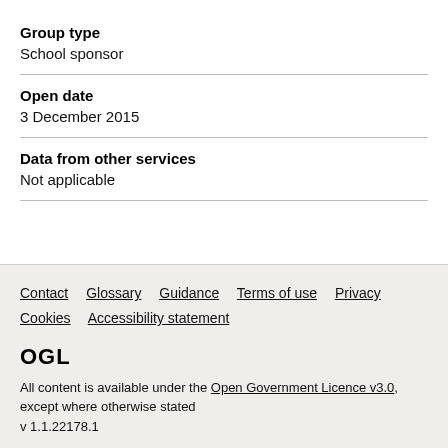Group type
School sponsor
Open date
3 December 2015
Data from other services
Not applicable
Contact   Glossary   Guidance   Terms of use   Privacy   Cookies   Accessibility statement
OGL
All content is available under the Open Government Licence v3.0, except where otherwise stated
v 1.1.22178.1